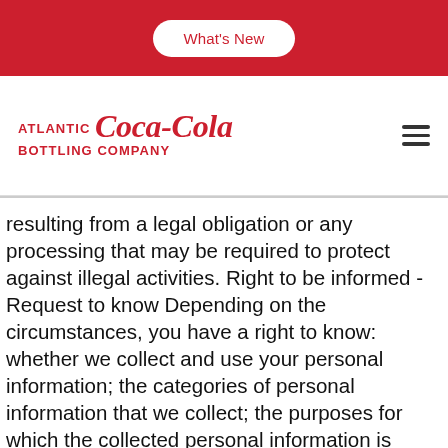What's New
[Figure (logo): Atlantic Coca-Cola Bottling Company logo in red, with hamburger menu icon on the right]
resulting from a legal obligation or any processing that may be required to protect against illegal activities. Right to be informed - Request to know Depending on the circumstances, you have a right to know: whether we collect and use your personal information; the categories of personal information that we collect; the purposes for which the collected personal information is used; whether we sell your personal information to third parties; the categories of personal information that we sold or disclosed for a business purpose; the categories of third parties to whom the personal information was sold or disclosed for a business purpose; and the business or commercial purpose for